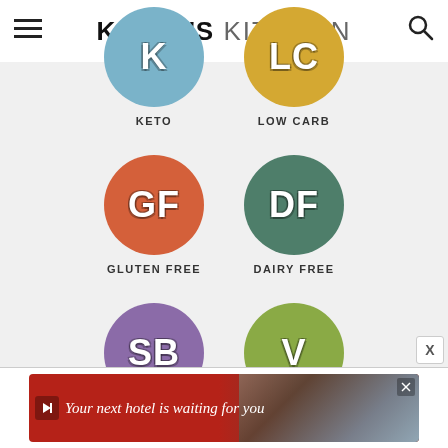KALYN'S KITCHEN
[Figure (infographic): Six dietary badge icons in a 2x3 grid on a light gray background: K=Keto (blue circle), LC=Low Carb (yellow circle), GF=Gluten Free (orange circle), DF=Dairy Free (dark green circle), SB=South Beach (purple circle), V=Vegetarian (olive green circle)]
[Figure (screenshot): Advertisement banner: red background with text 'Your next hotel is waiting for you' and a hotel photo]